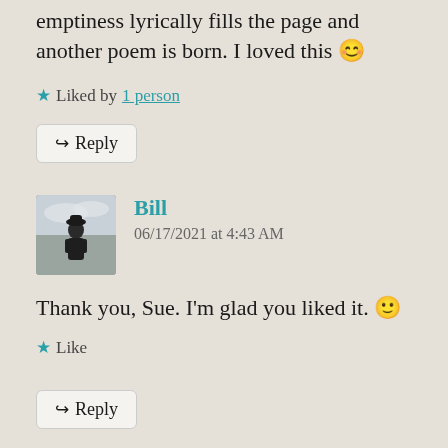emptiness lyrically fills the page and another poem is born. I loved this 😊
★ Liked by 1 person
↪ Reply
[Figure (photo): Avatar photo of commenter Bill, silhouette of a person against a cloudy sky]
Bill
06/17/2021 at 4:43 AM
Thank you, Sue. I'm glad you liked it. 🙂
★ Like
↪ Reply